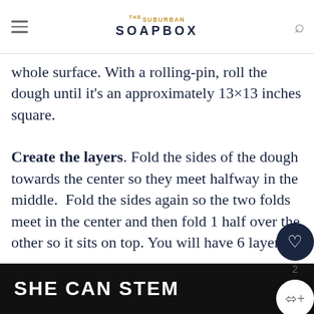THE SUBURBAN SOAPBOX
pastry onto the sugar. Spread a layer of sugar over the pastry, making sure to coat the whole surface. With a rolling-pin, roll the dough until it's an approximately 13×13 inches square.
Create the layers. Fold the sides of the dough towards the center so they meet halfway in the middle. Fold the sides again so the two folds meet in the center and then fold 1 half over the other so it sits on top. You will have 6 layers.
WHAT'S NEXT → Tomato Jam and Chedda...
SHE CAN STEM